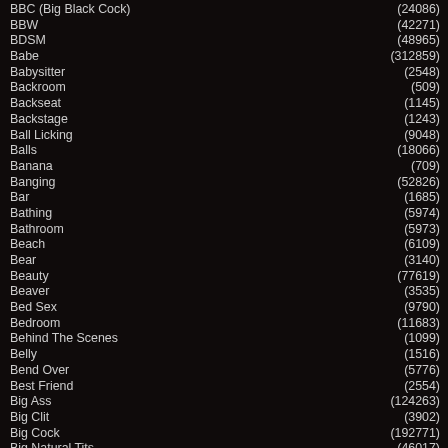BBC (Big Black Cock)  (24086)
BBW  (42271)
BDSM  (48965)
Babe  (312859)
Babysitter  (2548)
Backroom  (509)
Backseat  (1145)
Backstage  (1243)
Ball Licking  (9048)
Balls  (18066)
Banana  (709)
Banging  (52826)
Bar  (1685)
Bathing  (5974)
Bathroom  (5973)
Beach  (6109)
Bear  (3140)
Beauty  (77619)
Beaver  (3535)
Bed Sex  (9790)
Bedroom  (11683)
Behind The Scenes  (1099)
Belly  (1516)
Bend Over  (5776)
Best Friend  (2554)
Big Ass  (124263)
Big Clit  (3902)
Big Cock  (192771)
Big Natural Tits  (46017)
Big Nipples  (8635)
Big Pussy  (113411)
Big Tits  (251190)